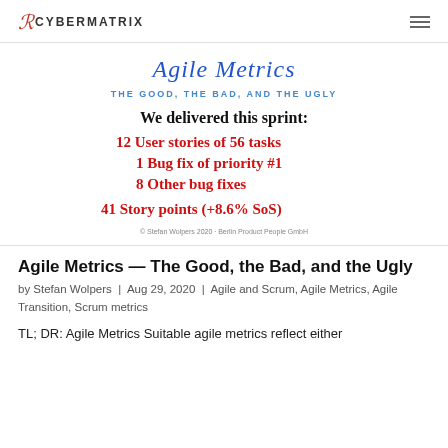CYBERMATRIX
[Figure (illustration): Handwritten-style image titled 'Agile Metrics — The Good, The Bad, And The Ugly'. Shows sprint delivery stats: 12 User stories of 56 tasks, 1 Bug fix of priority #1, 8 Other bug fixes, 41 Story points (+8.6% SoS). Copyright Stefan Wolpers 2020, Berlin Product People GmbH.]
Agile Metrics — The Good, the Bad, and the Ugly
by Stefan Wolpers  |  Aug 29, 2020  |  Agile and Scrum, Agile Metrics, Agile Transition, Scrum metrics
TL; DR: Agile Metrics Suitable agile metrics reflect either